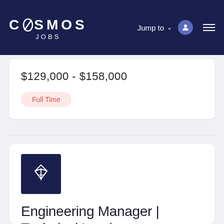COSMOS JOBS — Jump to navigation
$129,000 - $158,000
Full Time
Engineering Manager | Technical Lead
Chainshift